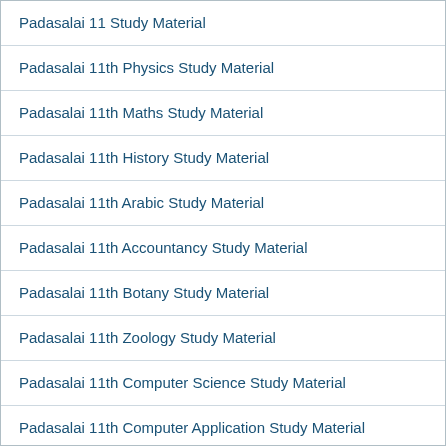Padasalai 11 Study Material
Padasalai 11th Physics Study Material
Padasalai 11th Maths Study Material
Padasalai 11th History Study Material
Padasalai 11th Arabic Study Material
Padasalai 11th Accountancy Study Material
Padasalai 11th Botany Study Material
Padasalai 11th Zoology Study Material
Padasalai 11th Computer Science Study Material
Padasalai 11th Computer Application Study Material
Padasalai 11th Sociology Study Material
Padasalai 11th Sanskrit Study Material
Padasalai 11th Geography Study Material
Padasalai 11th Economics Study Material
Padasalai 11th Statistics Study Material